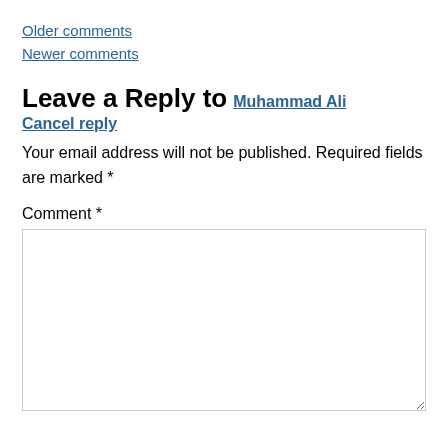Older comments
Newer comments
Leave a Reply to Muhammad Ali Cancel reply
Your email address will not be published. Required fields are marked *
Comment *